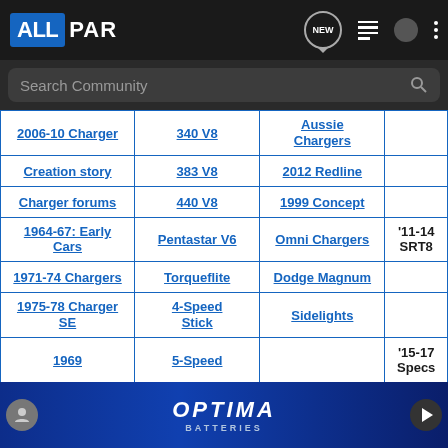ALLPAR
| 2006-10 Charger | 340 V8 | Aussie Chargers |  |
| Creation story | 383 V8 | 2012 Redline |  |
| Charger forums | 440 V8 | 1999 Concept |  |
| 1964-67: Early Cars | Pentastar V6 | Omni Chargers | '11-14 SRT8 |
| 1971-74 Chargers | Torqueflite | Dodge Magnum |  |
| 1975-78 Charger SE | 4-Speed Stick | Sidelights |  |
| 1969... | 5-Speed... |  | '15-17 Specs |